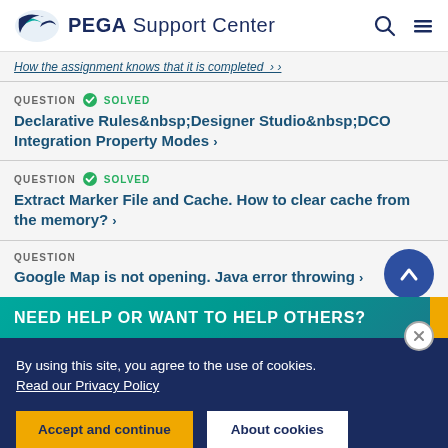PEGA Support Center
How the assignment knows that it is completed >
QUESTION SOLVED — Declarative Rules Designer Studio DCO Integration Property Modes >
QUESTION SOLVED — Extract Marker File and Cache. How to clear cache from the memory? >
QUESTION — Google Map is not opening. Java error throwing >
NEED HELP OR WANT TO HELP OTHERS?
By using this site, you agree to the use of cookies. Read our Privacy Policy
Accept and continue   About cookies